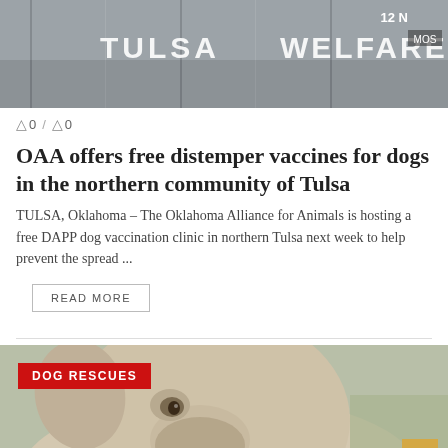[Figure (photo): Partial view of a building entrance showing the words TULSA and WELFARE on glass doors, with '12 N' and 'MOS' text visible in the upper right corner.]
0 / 0
OAA offers free distemper vaccines for dogs in the northern community of Tulsa
TULSA, Oklahoma – The Oklahoma Alliance for Animals is hosting a free DAPP dog vaccination clinic in northern Tulsa next week to help prevent the spread ...
READ MORE
[Figure (photo): Close-up photo of a light-colored dog (appears to be a pit bull or similar breed) looking to the side. A red 'DOG RESCUES' badge is overlaid in the upper left, and a gold/yellow badge appears in the lower right corner.]